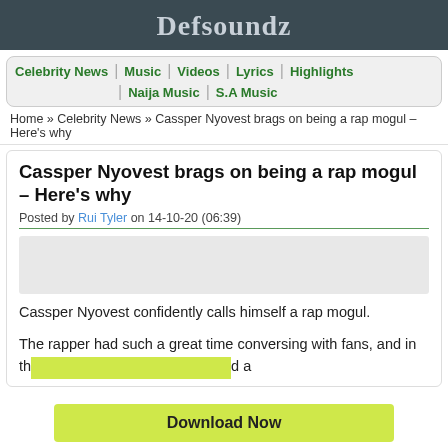Defsoundz
Celebrity News | Music | Videos | Lyrics | Highlights | Naija Music | S.A Music
Home » Celebrity News » Cassper Nyovest brags on being a rap mogul – Here's why
Cassper Nyovest brags on being a rap mogul – Here's why
Posted by Rui Tyler on 14-10-20 (06:39)
Cassper Nyovest confidently calls himself a rap mogul.
The rapper had such a great time conversing with fans, and in th... d a